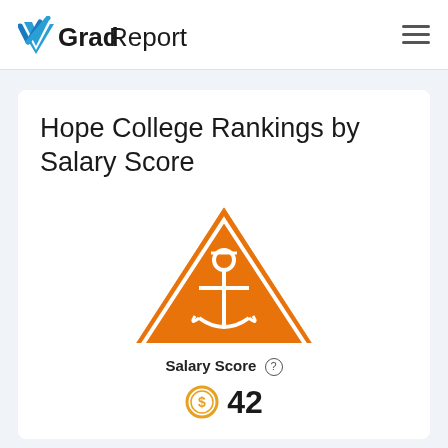GradReports
Hope College Rankings by Salary Score
[Figure (logo): Hope College logo: orange triangle with anchor and cross design, with 'HOPE COLLEGE' text in navy blue below]
Salary Score
42